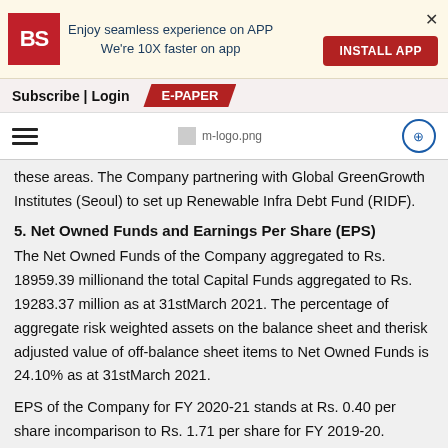Enjoy seamless experience on APP
We're 10X faster on app
INSTALL APP
Subscribe | Login  E-PAPER
[Figure (logo): Navigation bar with hamburger menu, m-logo.png placeholder, and share icon]
these areas. The Company partnering with Global GreenGrowth Institutes (Seoul) to set up Renewable Infra Debt Fund (RIDF).
5. Net Owned Funds and Earnings Per Share (EPS)
The Net Owned Funds of the Company aggregated to Rs. 18959.39 millionand the total Capital Funds aggregated to Rs. 19283.37 million as at 31stMarch 2021. The percentage of aggregate risk weighted assets on the balance sheet and therisk adjusted value of off-balance sheet items to Net Owned Funds is 24.10% as at 31stMarch 2021.
EPS of the Company for FY 2020-21 stands at Rs. 0.40 per share incomparison to Rs. 1.71 per share for FY 2019-20.
6. Reserves